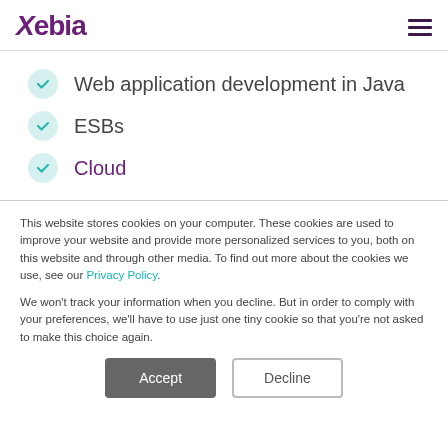Xebia
Web application development in Java
ESBs
Cloud
This website stores cookies on your computer. These cookies are used to improve your website and provide more personalized services to you, both on this website and through other media. To find out more about the cookies we use, see our Privacy Policy.
We won't track your information when you decline. But in order to comply with your preferences, we'll have to use just one tiny cookie so that you're not asked to make this choice again.